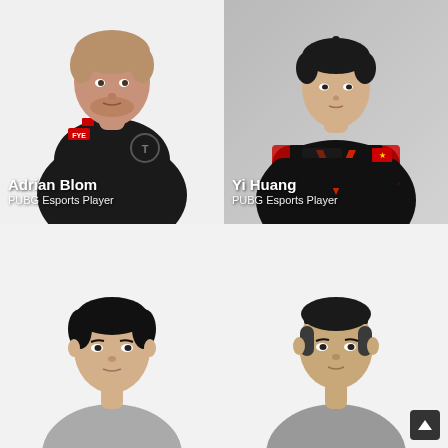[Figure (photo): Adrian Blom, PUBG Esports Player, wearing black hoodie with FYE logo, arms crossed, white background]
Adrian Blom
PUBG Esports Player
[Figure (photo): Yi Huang, PUBG Esports Player, wearing black and red esports jersey, arms crossed, grey background]
Yi Huang
PUBG Esports Player
[Figure (photo): Asian male PUBG esports player, headshot, white background, bottom left quadrant]
[Figure (photo): Asian male PUBG esports player, headshot, white background, bottom right quadrant]